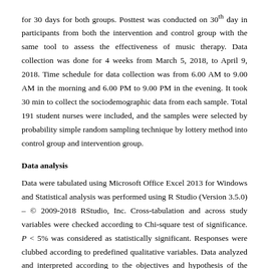for 30 days for both groups. Posttest was conducted on 30th day in participants from both the intervention and control group with the same tool to assess the effectiveness of music therapy. Data collection was done for 4 weeks from March 5, 2018, to April 9, 2018. Time schedule for data collection was from 6.00 AM to 9.00 AM in the morning and 6.00 PM to 9.00 PM in the evening. It took 30 min to collect the sociodemographic data from each sample. Total 191 student nurses were included, and the samples were selected by probability simple random sampling technique by lottery method into control group and intervention group.
Data analysis
Data were tabulated using Microsoft Office Excel 2013 for Windows and Statistical analysis was performed using R Studio (Version 3.5.0) – © 2009-2018 RStudio, Inc. Cross-tabulation and across study variables were checked according to Chi-square test of significance. P < 5% was considered as statistically significant. Responses were clubbed according to predefined qualitative variables. Data analyzed and interpreted according to the objectives and hypothesis of the study using descriptive and inferential statistical methods.
Results